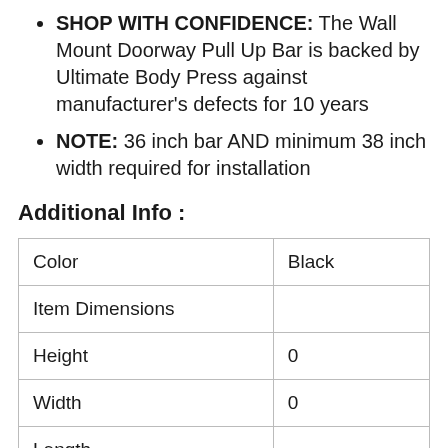SHOP WITH CONFIDENCE: The Wall Mount Doorway Pull Up Bar is backed by Ultimate Body Press against manufacturer's defects for 10 years
NOTE: 36 inch bar AND minimum 38 inch width required for installation
Additional Info :
|  |  |
| --- | --- |
| Color | Black |
| Item Dimensions |  |
| Height | 0 |
| Width | 0 |
| Length |  |